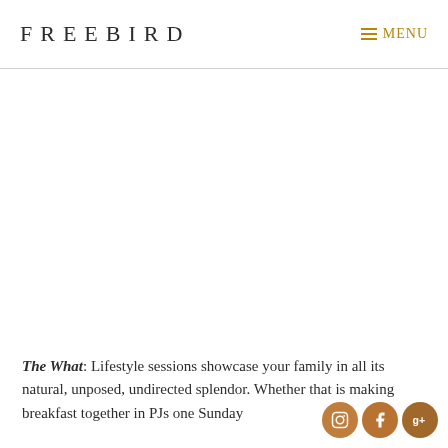FREEBIRD  MENU
[Figure (photo): Large white/blank image area below the navigation header]
The What: Lifestyle sessions showcase your family in all its natural, unposed, undirected splendor. Whether that is making breakfast together in PJs one Sunday